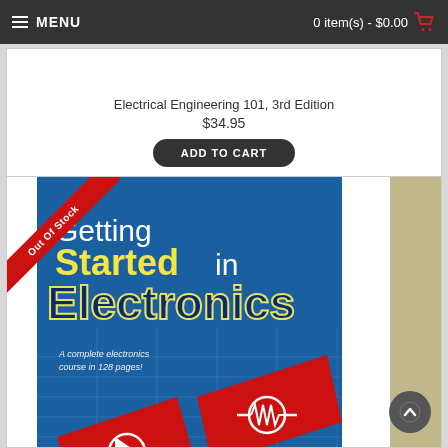MENU | 0 item(s) - $0.00
Electrical Engineering 101, 3rd Edition
$34.95
ADD TO CART
[Figure (photo): Book cover: Getting Started in Electronics by Forrest M. Mims III, showing blue circuit board background with red component symbols. Out Of Stock ribbon overlay in red.]